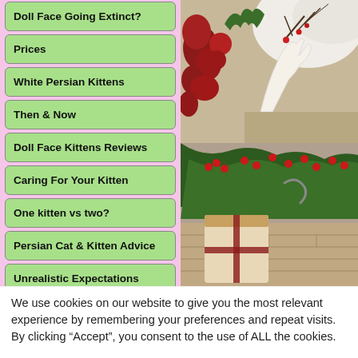Doll Face Going Extinct?
Prices
White Persian Kittens
Then & Now
Doll Face Kittens Reviews
Caring For Your Kitten
One kitten vs two?
Persian Cat & Kitten Advice
Unrealistic Expectations
Celebrity Cats
[Figure (photo): Christmas decoration photo showing white fluffy cat fur, red velvet bows, white antler decoration with berries and twigs on burlap background]
[Figure (photo): Christmas decoration photo showing pine branches with red holly berries and wrapped gift/stocking below]
We use cookies on our website to give you the most relevant experience by remembering your preferences and repeat visits. By clicking “Accept”, you consent to the use of ALL the cookies.